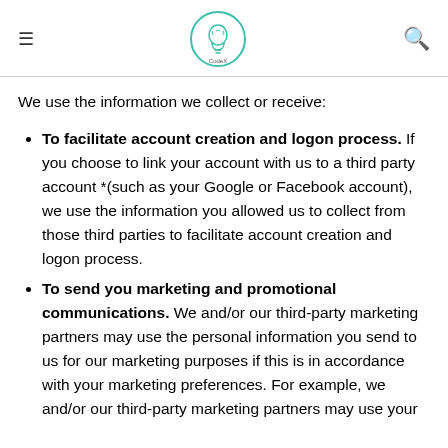CodeX
We use the information we collect or receive:
To facilitate account creation and logon process. If you choose to link your account with us to a third party account *(such as your Google or Facebook account), we use the information you allowed us to collect from those third parties to facilitate account creation and logon process.
To send you marketing and promotional communications. We and/or our third-party marketing partners may use the personal information you send to us for our marketing purposes if this is in accordance with your marketing preferences. For example, we and/or our third-party marketing partners may use your